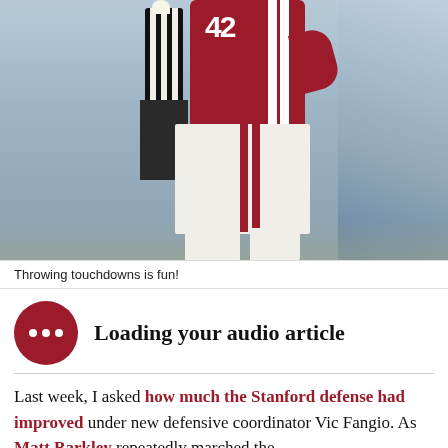[Figure (photo): Football player wearing red jersey number 42 with white pants running on field, referee visible in background, blurred crowd]
Throwing touchdowns is fun!
Loading your audio article
Last week, I asked how much the Stanford defense had improved under new defensive coordinator Vic Fangio. As Matt Barkley repeatedly marched the